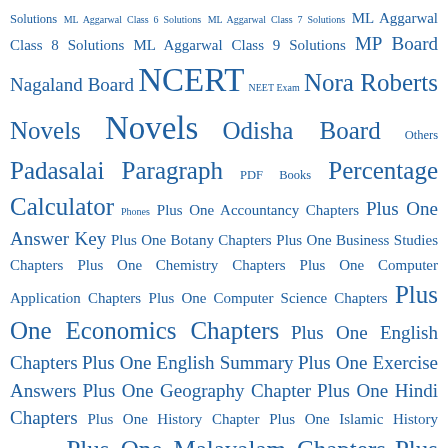Solutions ML Aggarwal Class 6 Solutions ML Aggarwal Class 7 Solutions ML Aggarwal Class 8 Solutions ML Aggarwal Class 9 Solutions MP Board Nagaland Board NCERT NEET Exam Nora Roberts Novels Novels Odisha Board Others Padasalai Paragraph PDF Books Percentage Calculator Phones Plus One Accountancy Chapters Plus One Answer Key Plus One Botany Chapters Plus One Business Studies Chapters Plus One Chemistry Chapters Plus One Computer Application Chapters Plus One Computer Science Chapters Plus One Economics Chapters Plus One English Chapters Plus One English Summary Plus One Exercise Answers Plus One Geography Chapter Plus One Hindi Chapters Plus One History Chapter Plus One Islamic History Chapter Plus One Malayalam Chapters Plus One Maths Chapters Plus One Notes Plus One Physics Chapters Plus One Political Science Chapter Plus One Psychology Chapter Plus One Sociology Chapter Plus One TextBooks Plus One Weightage Plus One Zoology Chapters Plus Two Accountancy Chapter Plus Two Answer Key Plus Two Botany Chapter Plus Two Business Studies Chapter Plus Two Chemistry Chapter Plus Two Computer Application Chapter Plus Two Computer Science Chapter Plus Two Economics Chapter Plus Two English Chapter Plus Two English Summary Plus Two Exercise Answers Plus Two Geography Chapter Plus Two Hindi Chapter Plus Two History Chapter Plus Two Islamic History Chapter Plus Two Malayalam Chapter Plus Two Maths Chapter Plus Two Notes Plus Two Physics Chapter Plus Two Political Science Chapter Plus Two Psychology